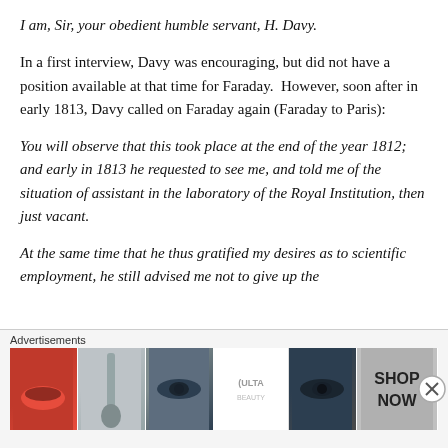I am, Sir, your obedient humble servant, H. Davy.
In a first interview, Davy was encouraging, but did not have a position available at that time for Faraday.  However, soon after in early 1813, Davy called on Faraday again (Faraday to Paris):
You will observe that this took place at the end of the year 1812; and early in 1813 he requested to see me, and told me of the situation of assistant in the laboratory of the Royal Institution, then just vacant.
At the same time that he thus gratified my desires as to scientific employment, he still advised me not to give up the...
Advertisements